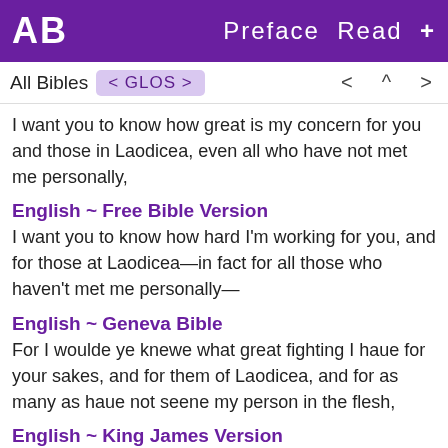AB   Preface  Read  +
All Bibles  < GLOS >    < ^ >
I want you to know how great is my concern for you and those in Laodicea, even all who have not met me personally,
English ~ Free Bible Version
I want you to know how hard I'm working for you, and for those at Laodicea—in fact for all those who haven't met me personally—
English ~ Geneva Bible
For I woulde ye knewe what great fighting I haue for your sakes, and for them of Laodicea, and for as many as haue not seene my person in the flesh,
English ~ King James Version
For I would that ye knew what great conflict I have for